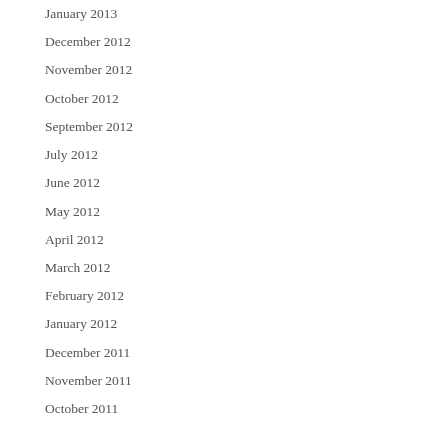January 2013
December 2012
November 2012
October 2012
September 2012
July 2012
June 2012
May 2012
April 2012
March 2012
February 2012
January 2012
December 2011
November 2011
October 2011